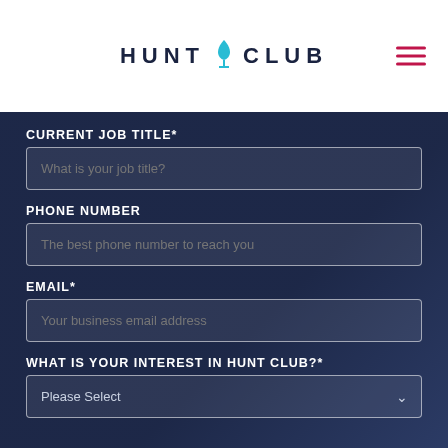[Figure (logo): Hunt Club logo with stylized martini glass icon between the words HUNT and CLUB in dark navy text]
CURRENT JOB TITLE*
What is your job title?
PHONE NUMBER
The best phone number to reach you
EMAIL*
Your business email address
WHAT IS YOUR INTEREST IN HUNT CLUB?*
Please Select